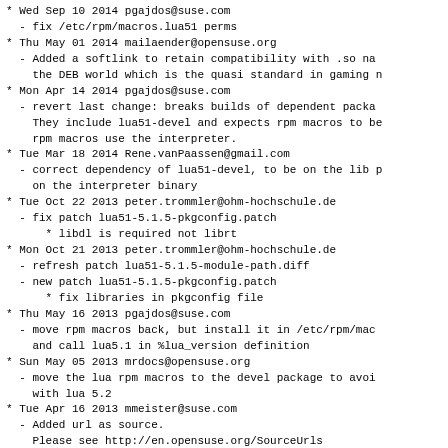* Wed Sep 10 2014 pgajdos@suse.com
  - fix /etc/rpm/macros.lua51 perms
* Thu May 01 2014 mailaender@opensuse.org
  - Added a softlink to retain compatibility with .so na
    the DEB world which is the quasi standard in gaming n
* Mon Apr 14 2014 pgajdos@suse.com
  - revert last change: breaks builds of dependent packa
    They include lua51-devel and expects rpm macros to be
    rpm macros use the interpreter.
* Tue Mar 18 2014 Rene.vanPaassen@gmail.com
  - correct dependency of lua51-devel, to be on the lib p
    on the interpreter binary
* Tue Oct 22 2013 peter.trommler@ohm-hochschule.de
  - fix patch lua51-5.1.5-pkgconfig.patch
    * libdl is required not librt
* Mon Oct 21 2013 peter.trommler@ohm-hochschule.de
  - refresh patch lua51-5.1.5-module-path.diff
  - new patch lua51-5.1.5-pkgconfig.patch
    * fix libraries in pkgconfig file
* Thu May 16 2013 pgajdos@suse.com
  - move rpm macros back, but install it in /etc/rpm/mac
    and call lua5.1 in %lua_version definition
* Sun May 05 2013 mrdocs@opensuse.org
  - move the lua rpm macros to the devel package to avoi
    with lua 5.2
* Tue Apr 16 2013 mmeister@suse.com
  - Added url as source.
    Please see http://en.opensuse.org/SourceUrls
* Mon Jun 18 2012 pgajdos@suse.com
  - updated to 5.1.5: